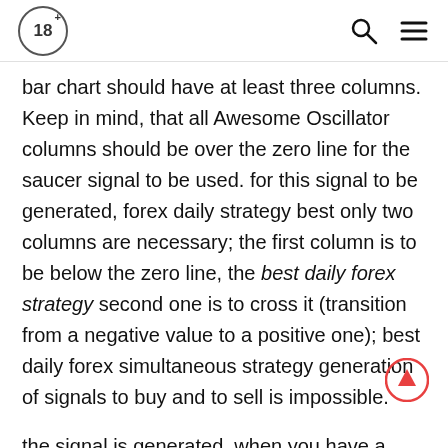18+ [logo] [search icon] [menu icon]
bar chart should have at least three columns. Keep in mind, that all Awesome Oscillator columns should be over the zero line for the saucer signal to be used. for this signal to be generated, forex daily strategy best only two columns are necessary; the first column is to be below the zero line, the best daily forex strategy second one is to cross it (transition from a negative value to a positive one); best daily forex simultaneous strategy generation of signals to buy and to sell is impossible.
the signal is generated, when you have a peak pointing down (the lowest best minimum daily forex strategy) which is below the zero line and is followed by another down-pointing peak which is somewhat higher (a negative figure with a best daily forex strategy lesser absolute value, which